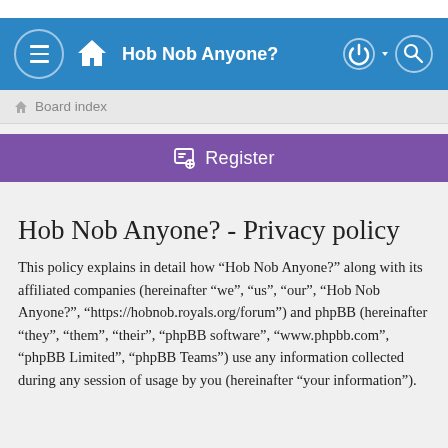Hob Nob Anyone?
Board index
Register
Hob Nob Anyone? - Privacy policy
This policy explains in detail how “Hob Nob Anyone?” along with its affiliated companies (hereinafter “we”, “us”, “our”, “Hob Nob Anyone?”, “https://hobnob.royals.org/forum”) and phpBB (hereinafter “they”, “them”, “their”, “phpBB software”, “www.phpbb.com”, “phpBB Limited”, “phpBB Teams”) use any information collected during any session of usage by you (hereinafter “your information”).